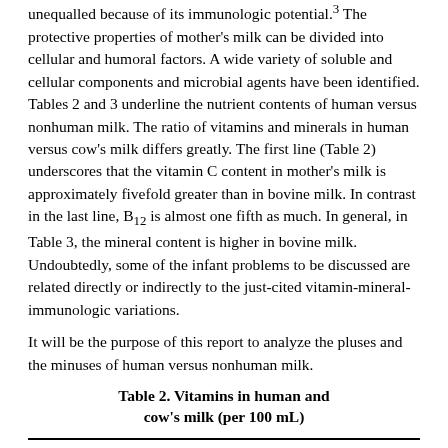unequalled because of its immunologic potential.³ The protective properties of mother's milk can be divided into cellular and humoral factors. A wide variety of soluble and cellular components and microbial agents have been identified. Tables 2 and 3 underline the nutrient contents of human versus nonhuman milk. The ratio of vitamins and minerals in human versus cow's milk differs greatly. The first line (Table 2) underscores that the vitamin C content in mother's milk is approximately fivefold greater than in bovine milk. In contrast in the last line, B₁₂ is almost one fifth as much. In general, in Table 3, the mineral content is higher in bovine milk. Undoubtedly, some of the infant problems to be discussed are related directly or indirectly to the just-cited vitamin-mineral-immunologic variations.
It will be the purpose of this report to analyze the pluses and the minuses of human versus nonhuman milk.
Table 2. Vitamins in human and cow's milk (per 100 mL)
| Vitamins | Human Milk | Cow's Milk | Human/Cow Ratio |
| --- | --- | --- | --- |
| C (mg) | 5.0 | 1.1 | 4.55 |